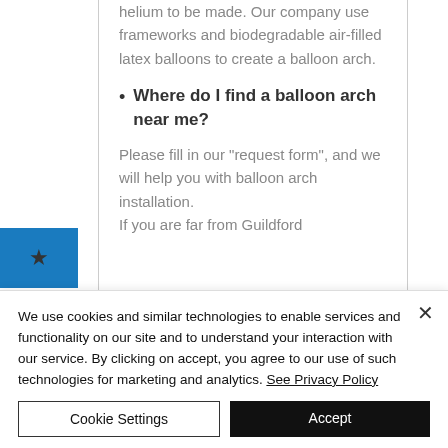helium to be made. Our company use frameworks and biodegradable air-filled latex balloons to create a balloon arch.
Where do I find a balloon arch near me?
Please fill in our "request form", and we will help you with balloon arch installation. If you are far from Guildford
We use cookies and similar technologies to enable services and functionality on our site and to understand your interaction with our service. By clicking on accept, you agree to our use of such technologies for marketing and analytics. See Privacy Policy
Cookie Settings
Accept